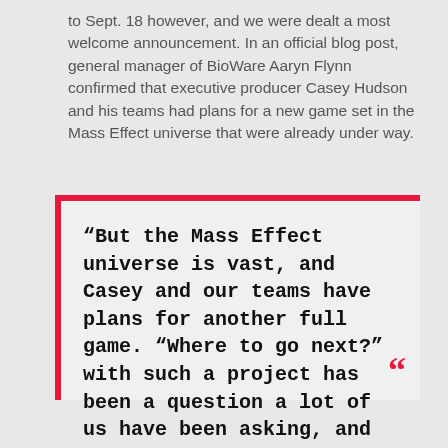to Sept. 18 however, and we were dealt a most welcome announcement. In an official blog post, general manager of BioWare Aaryn Flynn confirmed that executive producer Casey Hudson and his teams had plans for a new game set in the Mass Effect universe that were already under way.
“But the Mass Effect universe is vast, and Casey and our teams have plans for another full game. “Where to go next?” with such a project has been a question a lot of us have been asking, and we’d all love to hear your ideas,” he said.